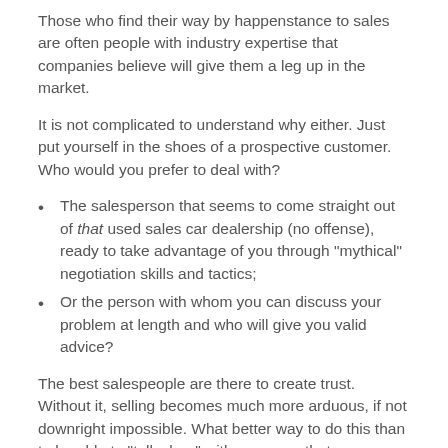Those who find their way by happenstance to sales are often people with industry expertise that companies believe will give them a leg up in the market.
It is not complicated to understand why either. Just put yourself in the shoes of a prospective customer. Who would you prefer to deal with?
The salesperson that seems to come straight out of that used sales car dealership (no offense), ready to take advantage of you through "mythical" negotiation skills and tactics;
Or the person with whom you can discuss your problem at length and who will give you valid advice?
The best salespeople are there to create trust. Without it, selling becomes much more arduous, if not downright impossible. What better way to do this than to be able to "talk shop" with someone that